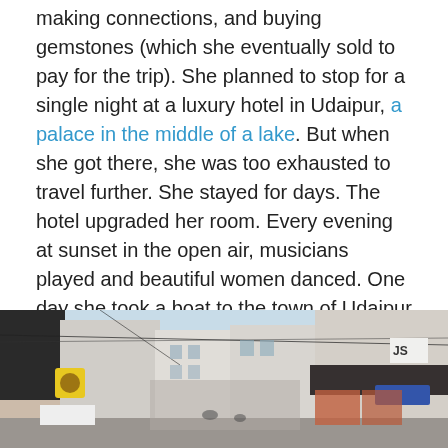making connections, and buying gemstones (which she eventually sold to pay for the trip). She planned to stop for a single night at a luxury hotel in Udaipur, a palace in the middle of a lake. But when she got there, she was too exhausted to travel further. She stayed for days. The hotel upgraded her room. Every evening at sunset in the open air, musicians played and beautiful women danced. One day she took a boat to the town of Udaipur to explore the jewelry shops there. She found herself on the street below, where there was so much motorcycle traffic she ducked into a shop to escape it. That's where she found the ruby ring.
[Figure (photo): A busy street scene in Udaipur, India, showing a narrow commercial street with multi-story buildings on both sides, shop awnings, overhead wires, a yellow sign on the left, and a bright blue sky visible above.]